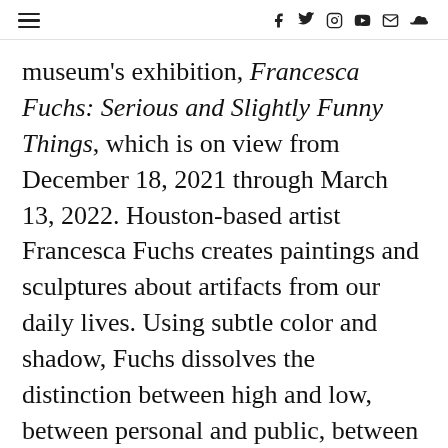Navigation and social icons bar
museum’s exhibition, Francesca Fuchs: Serious and Slightly Funny Things, which is on view from December 18, 2021 through March 13, 2022. Houston-based artist Francesca Fuchs creates paintings and sculptures about artifacts from our daily lives. Using subtle color and shadow, Fuchs dissolves the distinction between high and low, between personal and public, between what we feel and what we know. AMSET is open 7 days a week and admission is free. For more information, visit amset.org.